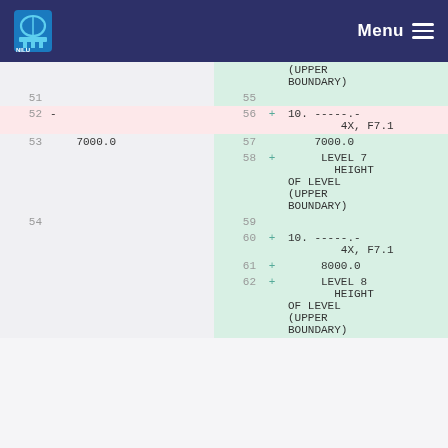NILU Menu
| old line | old content | new line | marker | new content |
| --- | --- | --- | --- | --- |
|  |  | 55 |  | (UPPER BOUNDARY) |
| 51 |  | 55 |  |  |
| 52 | - | 56 | + | 10. -----.-
4X, F7.1 |
| 53 | 7000.0 | 57 |  | 7000.0 |
|  |  | 58 | + | LEVEL 7 HEIGHT OF LEVEL (UPPER BOUNDARY) |
| 54 |  | 59 |  |  |
|  |  | 60 | + | 10. -----.-
4X, F7.1 |
|  |  | 61 | + | 8000.0 |
|  |  | 62 | + | LEVEL 8 HEIGHT OF LEVEL (UPPER BOUNDARY) |